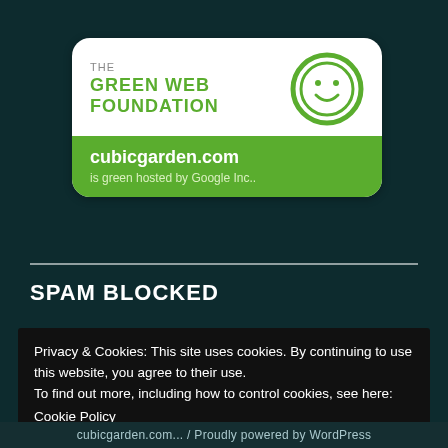[Figure (logo): The Green Web Foundation badge: white rounded rectangle with green text 'THE GREEN WEB FOUNDATION', a green smiley face circle icon, and a green bar at the bottom showing 'cubicgarden.com' and 'is green hosted by Google Inc..']
SPAM BLOCKED
Privacy & Cookies: This site uses cookies. By continuing to use this website, you agree to their use.
To find out more, including how to control cookies, see here:
Cookie Policy
cubicgarden.com... / Proudly powered by WordPress